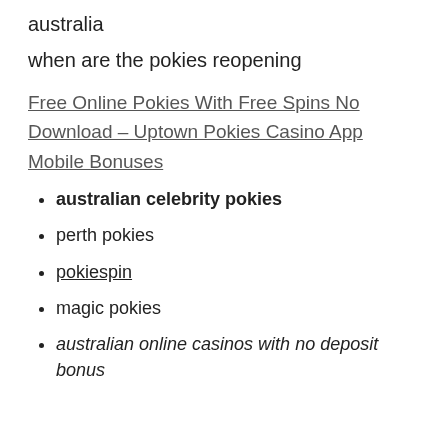australia
when are the pokies reopening
Free Online Pokies With Free Spins No Download – Uptown Pokies Casino App Mobile Bonuses
australian celebrity pokies
perth pokies
pokiespin
magic pokies
australian online casinos with no deposit bonus